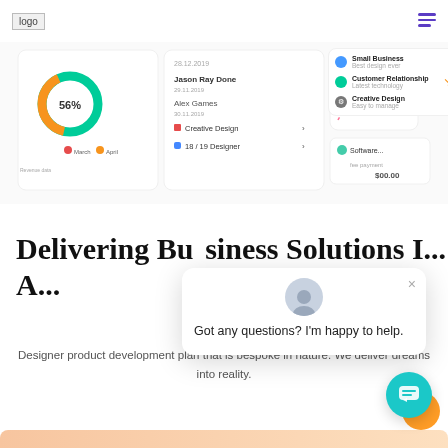[Figure (screenshot): Logo placeholder in top-left nav area]
[Figure (screenshot): Hamburger menu icon in top-right nav area with purple color]
[Figure (screenshot): Dashboard UI screenshot showing charts, donut graph with 56%, line chart, and list items including Small Business, Customer Relationship, Creative Design]
Delivering Business Solutions I... A...
[Figure (screenshot): Chat popup with avatar, close button, and message: Got any questions? I'm happy to help.]
Designer product development plan that is bespoke in nature. We deliver dreams into reality.
[Figure (screenshot): Teal chat button with speech bubble icon and orange accent circle in bottom right corner]
[Figure (illustration): Orange/peach gradient bottom bar decoration]